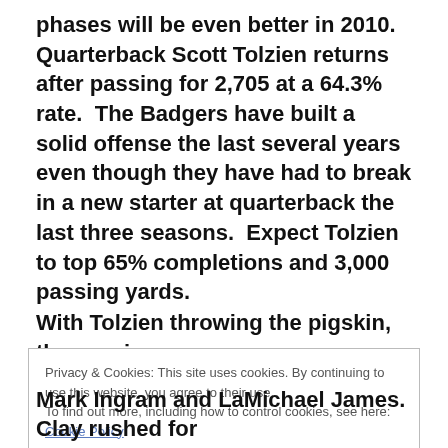phases will be even better in 2010.  Quarterback Scott Tolzien returns after passing for 2,705 at a 64.3% rate.  The Badgers have built a solid offense the last several years even though they have had to break in a new starter at quarterback the last three seasons.  Expect Tolzien to top 65% completions and 3,000 passing yards.
With Tolzien throwing the pigskin, the running game
Privacy & Cookies: This site uses cookies. By continuing to use this website, you agree to their use.
To find out more, including how to control cookies, see here: Cookie Policy
Mark Ingram and LaMichael James.  Clay rushed for